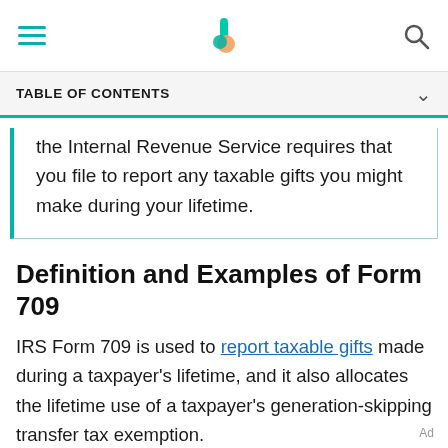TABLE OF CONTENTS
the Internal Revenue Service requires that you file to report any taxable gifts you might make during your lifetime.
Definition and Examples of Form 709
IRS Form 709 is used to report taxable gifts made during a taxpayer's lifetime, and it also allocates the lifetime use of a taxpayer's generation-skipping transfer tax exemption.